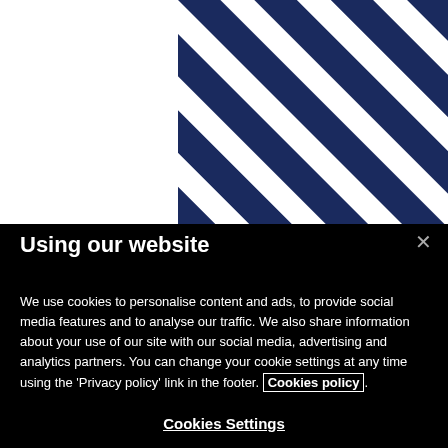[Figure (illustration): White background on left side, diagonal navy blue and white stripes on right side, forming a graphic design element for a website header.]
Using our website
We use cookies to personalise content and ads, to provide social media features and to analyse our traffic. We also share information about your use of our site with our social media, advertising and analytics partners. You can change your cookie settings at any time using the ‘Privacy policy’ link in the footer. Cookies policy.
Cookies Settings